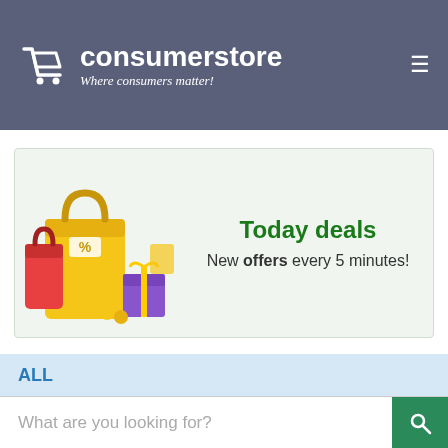consumerstore – Where consumers matter!
[Figure (illustration): Shopping bags with discount tag and gift boxes illustration]
Today deals
New offers every 5 minutes!
ALL
What are you looking for?
Home / Computers / Monitors / Philips 243V7QJABF/24" IPS 1920x1080 16:9